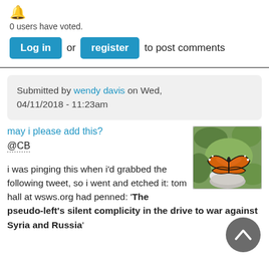[Figure (illustration): Orange emoji/icon at top of page]
0 users have voted.
Log in or register to post comments
Submitted by wendy davis on Wed, 04/11/2018 - 11:23am
may i please add this?
@CB
[Figure (photo): Monarch butterfly resting on white flowers with green foliage background]
i was pinging this when i'd grabbed the following tweet, so i went and etched it: tom hall at wsws.org had penned: 'The pseudo-left's silent complicity in the drive to war against Syria and Russia'